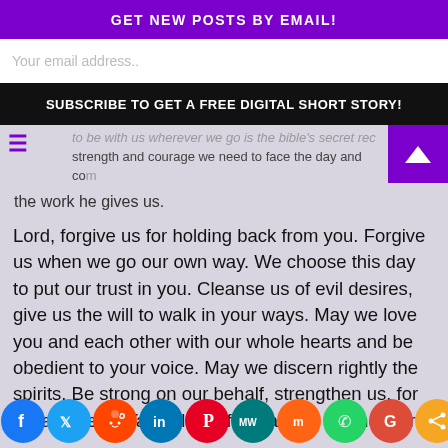GET NEW POSTS BY EMAIL!
Your email address..
SUBSCRIBE TO GET A FREE DIGITAL SHORT STORY!
to be with us wherever we go is the bible's secret recipe strength and courage we need to face the day and complete the work he gives us.
Lord, forgive us for holding back from you. Forgive us when we go our own way. We choose this day to put our trust in you. Cleanse us of evil desires, give us the will to walk in your ways. May we love you and each other with our whole hearts and be obedient to your voice. May we discern rightly the spirits. Be strong on our behalf, strengthen us, for we are weak. Take all our fear, all our shame, our discouragement, and disappointments today and grant us in their place courage and confidence that you are with us wherever we go. In Jesus's name we pray Lord
Social share icons: Facebook, Twitter, Reddit, LinkedIn, Pinterest, MeWe, Mix, WhatsApp, Google, Share